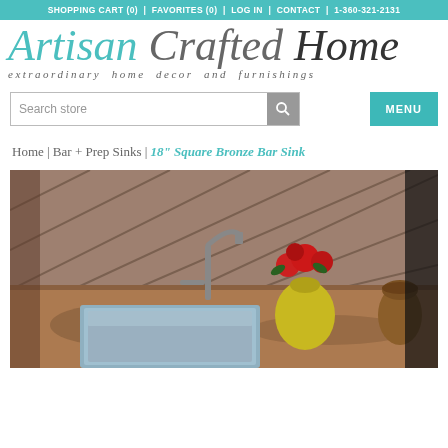SHOPPING CART (0) | FAVORITES (0) | LOG IN | CONTACT | 1-360-321-2131
Artisan Crafted Home
extraordinary home decor and furnishings
Search store
MENU
Home | Bar + Prep Sinks | 18" Square Bronze Bar Sink
[Figure (photo): A bronze bar sink installed in a stone countertop with a modern faucet, yellow glass vase with red flowers, and a bronze decorative cup in the background with stone tile backsplash]